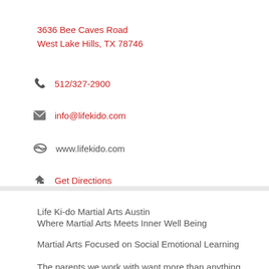3636 Bee Caves Road
West Lake Hills, TX 78746
512/327-2900
info@lifekido.com
www.lifekido.com
Get Directions
Life Ki-do Martial Arts Austin
Where Martial Arts Meets Inner Well Being
Martial Arts Focused on Social Emotional Learning
The parents we work with want more than anything for their children to find happiness and confidence within